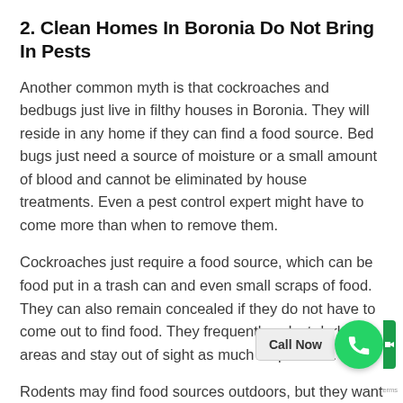2. Clean Homes In Boronia Do Not Bring In Pests
Another common myth is that cockroaches and bedbugs just live in filthy houses in Boronia. They will reside in any home if they can find a food source. Bed bugs just need a source of moisture or a small amount of blood and cannot be eliminated by house treatments. Even a pest control expert might have to come more than when to remove them.
Cockroaches just require a food source, which can be food put in a trash can and even small scraps of food. They can also remain concealed if they do not have to come out to find food. They frequently select dark areas and stay out of sight as much as possible.
Rodents may find food sources outdoors, but they want a warm, dry place to live. What could be a much better home to a mouse or rat than your ceiling cavity, which is warm and dry throughout the year? They are not as simple
[Figure (other): Green circular Call Now button with phone icon, and a 'Call Now' label badge overlaid on the text at bottom right]